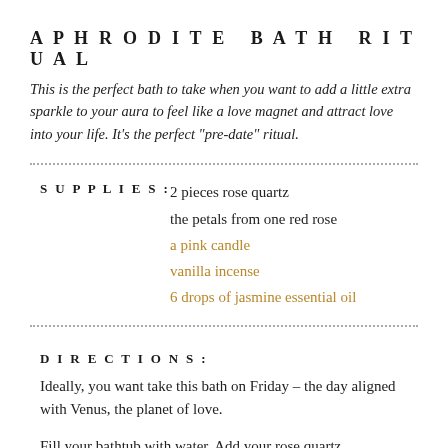APHRODITE BATH RITUAL
This is the perfect bath to take when you want to add a little extra sparkle to your aura to feel like a love magnet and attract love into your life. It’s the perfect “pre-date” ritual.
SUPPLIES:
2 pieces rose quartz
the petals from one red rose
a pink candle
vanilla incense
6 drops of jasmine essential oil
DIRECTIONS:
Ideally, you want take this bath on Friday – the day aligned with Venus, the planet of love.
Fill your bathtub with water. Add your rose quartz,